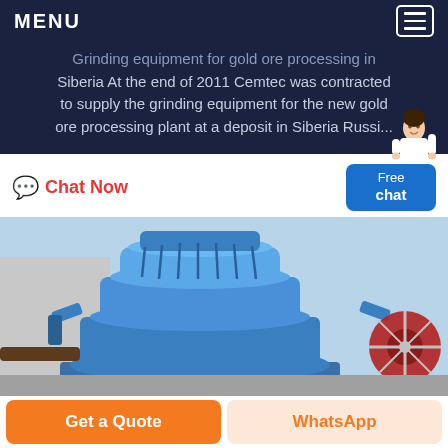MENU
Grinding equipment for gold ore processing in Siberia At the end of 2011 Cemtec was contracted to supply the grinding equipment for the new gold ore processing plant at a deposit in Siberia Russi...
Chat Now
[Figure (photo): Large blue industrial cone crusher / grinding mill machine photographed outdoors, with heavy steel housing and mechanical components visible. A red flywheel is partially visible on the right side.]
Get a Quote
WhatsApp